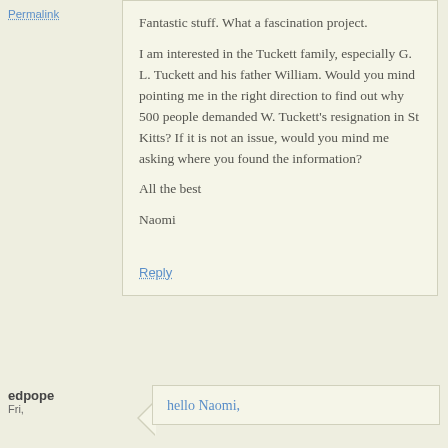Permalink
Fantastic stuff. What a fascination project.

I am interested in the Tuckett family, especially G. L. Tuckett and his father William. Would you mind pointing me in the right direction to find out why 500 people demanded W. Tuckett's resignation in St Kitts? If it is not an issue, would you mind me asking where you found the information?

All the best

Naomi
Reply
edpope
Fri,
hello Naomi,